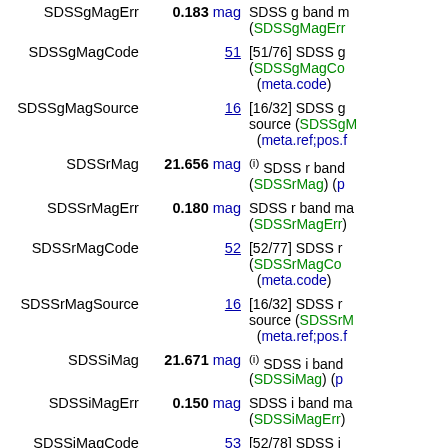| Field | Value | Description |
| --- | --- | --- |
| SDSSgMagErr | 0.183 mag | SDSS g band m... (SDSSgMagErr |
| SDSSgMagCode | 51 | [51/76] SDSS g... (SDSSgMagCo... (meta.code) |
| SDSSgMagSource | 16 | [16/32] SDSS g... source (SDSSgM... (meta.ref;pos.f |
| SDSSrMag | 21.656 mag | (i) SDSS r band... (SDSSrMag) (p |
| SDSSrMagErr | 0.180 mag | SDSS r band ma... (SDSSrMagErr) |
| SDSSrMagCode | 52 | [52/77] SDSS r... (SDSSrMagCo... (meta.code) |
| SDSSrMagSource | 16 | [16/32] SDSS r... source (SDSSrM... (meta.ref;pos.f |
| SDSSiMag | 21.671 mag | (i) SDSS i band... (SDSSiMag) (p |
| SDSSiMagErr | 0.150 mag | SDSS i band ma... (SDSSiMagErr) |
| SDSSiMagCode | 53 | [52/78] SDSS i... |